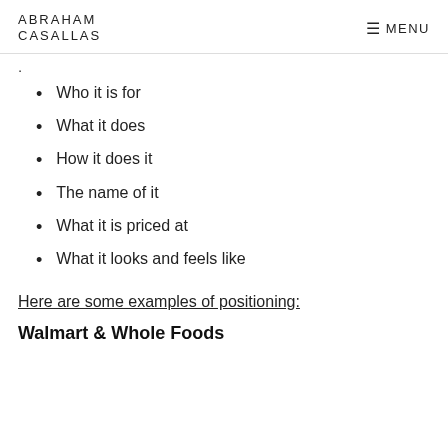ABRAHAM CASALLAS | MENU
.
Who it is for
What it does
How it does it
The name of it
What it is priced at
What it looks and feels like
Here are some examples of positioning:
Walmart & Whole Foods